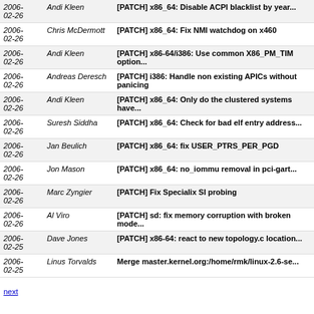| Date | Author | Subject |
| --- | --- | --- |
| 2006-02-26 | Andi Kleen | [PATCH] x86_64: Disable ACPI blacklist by year... |
| 2006-02-26 | Chris McDermott | [PATCH] x86_64: Fix NMI watchdog on x460 |
| 2006-02-26 | Andi Kleen | [PATCH] x86-64/i386: Use common X86_PM_TIM option... |
| 2006-02-26 | Andreas Deresch | [PATCH] i386: Handle non existing APICs without panicing |
| 2006-02-26 | Andi Kleen | [PATCH] x86_64: Only do the clustered systems have... |
| 2006-02-26 | Suresh Siddha | [PATCH] x86_64: Check for bad elf entry address... |
| 2006-02-26 | Jan Beulich | [PATCH] x86_64: fix USER_PTRS_PER_PGD |
| 2006-02-26 | Jon Mason | [PATCH] x86_64: no_iommu removal in pci-gart... |
| 2006-02-26 | Marc Zyngier | [PATCH] Fix Specialix SI probing |
| 2006-02-26 | Al Viro | [PATCH] sd: fix memory corruption with broken mode... |
| 2006-02-25 | Dave Jones | [PATCH] x86-64: react to new topology.c location... |
| 2006-02-25 | Linus Torvalds | Merge master.kernel.org:/home/rmk/linux-2.6-se... |
next